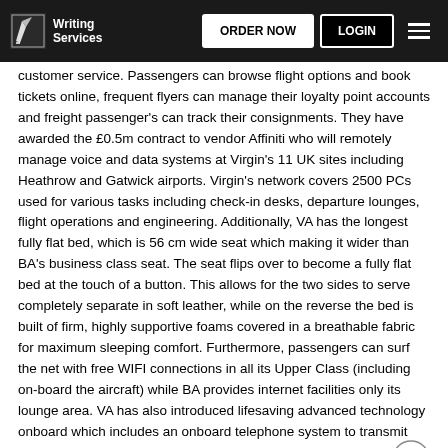Writing Services | ORDER NOW | LOGIN
customer service. Passengers can browse flight options and book tickets online, frequent flyers can manage their loyalty point accounts and freight passenger's can track their consignments. They have awarded the £0.5m contract to vendor Affiniti who will remotely manage voice and data systems at Virgin's 11 UK sites including Heathrow and Gatwick airports. Virgin's network covers 2500 PCs used for various tasks including check-in desks, departure lounges, flight operations and engineering. Additionally, VA has the longest fully flat bed, which is 56 cm wide seat which making it wider than BA's business class seat. The seat flips over to become a fully flat bed at the touch of a button. This allows for the two sides to serve completely separate in soft leather, while on the reverse the bed is built of firm, highly supportive foams covered in a breathable fabric for maximum sleeping comfort. Furthermore, passengers can surf the net with free WIFI connections in all its Upper Class (including on-board the aircraft) while BA provides internet facilities only its lounge area. VA has also introduced lifesaving advanced technology onboard which includes an onboard telephone system to transmit medical information to medical experts to a MedAire centre. Doctors then diagnose the problem and advice the crew on the next